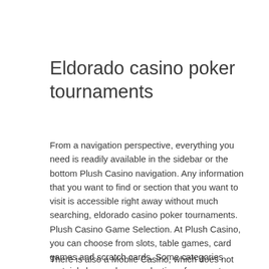Eldorado casino poker tournaments
From a navigation perspective, everything you need is readily available in the sidebar or the bottom Plush Casino navigation. Any information that you want to find or section that you want to visit is accessible right away without much searching, eldorado casino poker tournaments. Plush Casino Game Selection. At Plush Casino, you can choose from slots, table games, card games and scratch cards. Some categories certainly have a larger selection of games to choose from than others.
There is also a Mobile Casino, which does not require an app and is intended to support